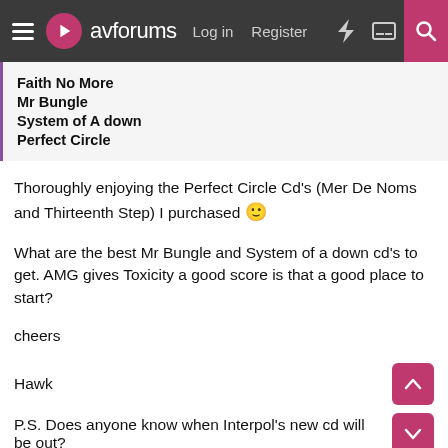avforums  Log in  Register
Faith No More
Mr Bungle
System of A down
Perfect Circle
Thoroughly enjoying the Perfect Circle Cd's (Mer De Noms and Thirteenth Step) I purchased 🙂
What are the best Mr Bungle and System of a down cd's to get. AMG gives Toxicity a good score is that a good place to start?
cheers
Hawk
P.S. Does anyone know when Interpol's new cd will be out?
karkus30
Banned